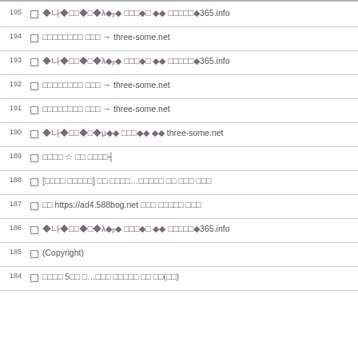195 □ [garbled text] 365.info
194 □ [garbled text] → three-some.net
193 □ [garbled text] 365.info
192 □ [garbled text] → three-some.net
191 □ [garbled text] → three-some.net
190 □ [garbled text] three-some.net
189 □ [garbled text] ☆ [garbled text]
188 □ [garbled text]...[garbled text]
187 □ [garbled text] https://ad4.588bog.net [garbled text]
186 □ [garbled text] 365.info
185 □ (Copyright)
184 □ [garbled text] 5[garbled]...[garbled text](garbled)